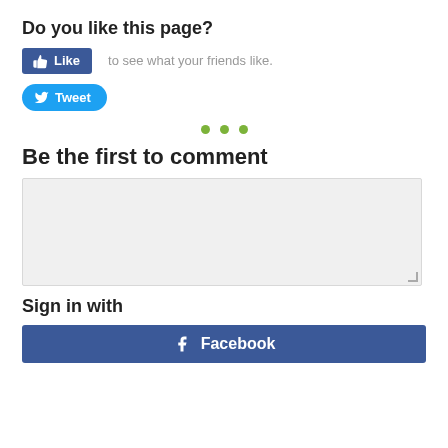Do you like this page?
[Figure (screenshot): Facebook Like button (blue rounded rectangle with thumbs up icon and 'Like' text) followed by text 'to see what your friends like.']
[Figure (screenshot): Twitter Tweet button (blue pill-shaped with bird icon and 'Tweet' text)]
[Figure (other): Three small green dots/circles used as a decorative divider]
Be the first to comment
[Figure (screenshot): Gray textarea comment input box with resize handle in bottom-right corner]
Sign in with
[Figure (screenshot): Facebook sign-in button (dark blue with Facebook 'f' icon and 'Facebook' text)]